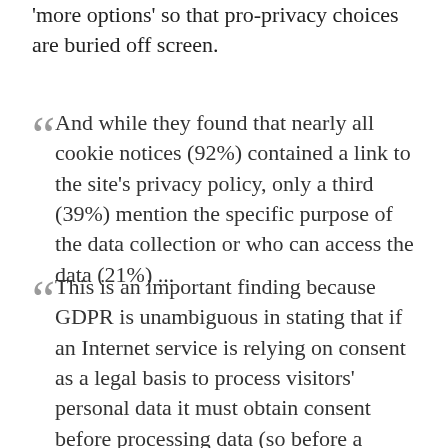'more options' so that pro-privacy choices are buried off screen.
And while they found that nearly all cookie notices (92%) contained a link to the site's privacy policy, only a third (39%) mention the specific purpose of the data collection or who can access the data (21%) ...
This is an important finding because GDPR is unambiguous in stating that if an Internet service is relying on consent as a legal basis to process visitors' personal data it must obtain consent before processing data (so before a tracking cookie is dropped) — and that consent must be specific